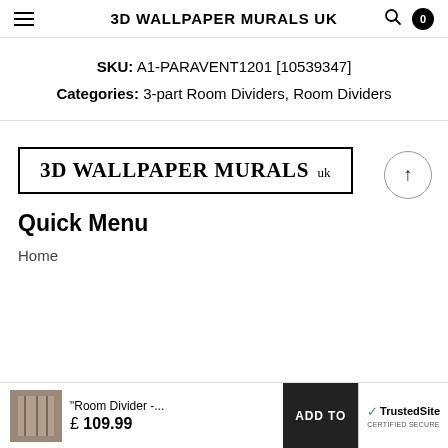3D WALLPAPER MURALS UK
SKU: A1-PARAVENT1201 [10539347]
Categories: 3-part Room Dividers, Room Dividers
[Figure (logo): 3D WALLPAPER MURALS UK logo in a black bordered rectangle]
Quick Menu
Home
"Room Divider -... £ 109.99  ADD TO  TrustedSite CERTIFIED SECURE